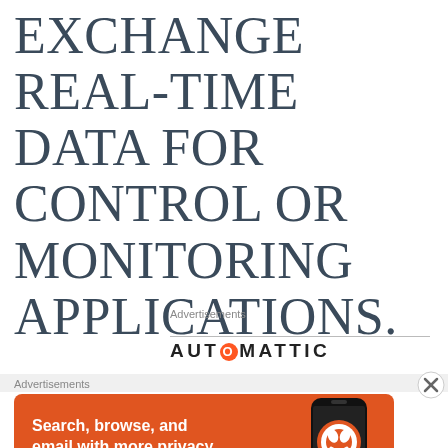EXCHANGE REAL-TIME DATA FOR CONTROL OR MONITORING APPLICATIONS.
Advertisements
[Figure (logo): Automattic logo with orange circle replacing the 'O']
Advertisements
[Figure (photo): DuckDuckGo advertisement banner on orange background: 'Search, browse, and email with more privacy. All in One Free App' with a phone showing DuckDuckGo app]